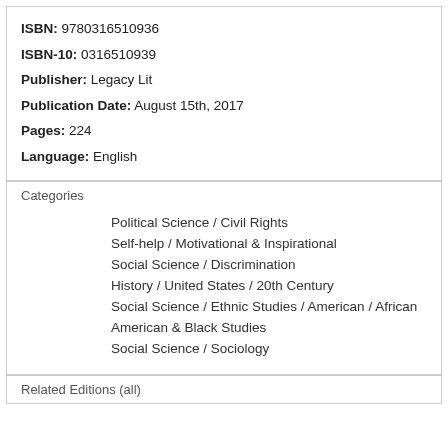ISBN: 9780316510936
ISBN-10: 0316510939
Publisher: Legacy Lit
Publication Date: August 15th, 2017
Pages: 224
Language: English
Categories
Political Science / Civil Rights
Self-help / Motivational & Inspirational
Social Science / Discrimination
History / United States / 20th Century
Social Science / Ethnic Studies / American / African American & Black Studies
Social Science / Sociology
Related Editions (all)